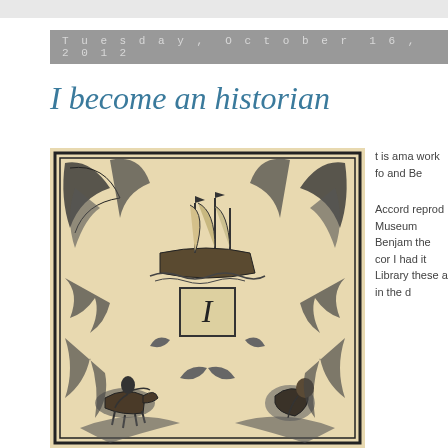Tuesday, October 16, 2012
I become an historian
[Figure (illustration): Historical woodcut or engraving depicting an ornate decorative illustration with a sailing ship at the top surrounded by elaborate foliage and scrollwork, a large Roman numeral 'I' in a box in the center, and figures including a person on horseback at the bottom left and another figure at the bottom right.]
t is ama work fo and Be Accord reprod Museum Benjam the cor I had it Library these a in the d